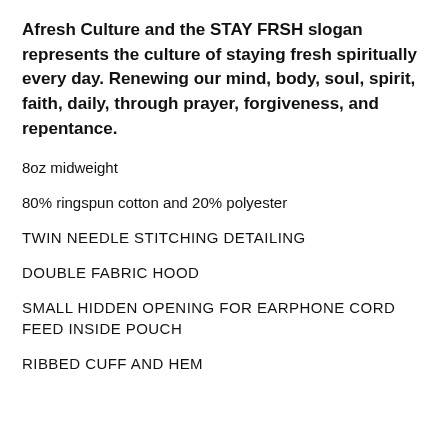Afresh Culture and the STAY FRSH slogan represents the culture of staying fresh spiritually every day. Renewing our mind, body, soul, spirit, faith, daily, through prayer, forgiveness, and repentance.
8oz midweight
80% ringspun cotton and 20% polyester
TWIN NEEDLE STITCHING DETAILING
DOUBLE FABRIC HOOD
SMALL HIDDEN OPENING FOR EARPHONE CORD FEED INSIDE POUCH
RIBBED CUFF AND HEM